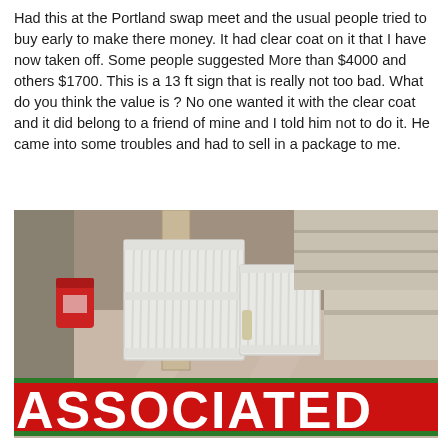Had this at the Portland swap meet and the usual people tried to buy early to make there money. It had clear coat on it that I have now taken off. Some people suggested More than $4000 and others $1700. This is a 13 ft sign that is really not too bad. What do you think the value is ? No one wanted it with the clear coat and it did belong to a friend of mine and I told him not to do it. He came into some troubles and had to sell in a package to me.
[Figure (photo): Photo of a large red 'ASSOCIATED' sign lying on the floor of what appears to be a warehouse or garage. The sign has white lettering on a red background with a green edge. Behind it are wooden fence panels leaning against a support post, a red container, shelving, and various items in the background.]